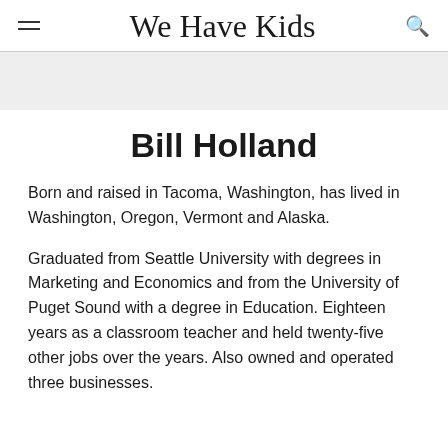We Have Kids
Bill Holland
Born and raised in Tacoma, Washington, has lived in Washington, Oregon, Vermont and Alaska.
Graduated from Seattle University with degrees in Marketing and Economics and from the University of Puget Sound with a degree in Education. Eighteen years as a classroom teacher and held twenty-five other jobs over the years. Also owned and operated three businesses.